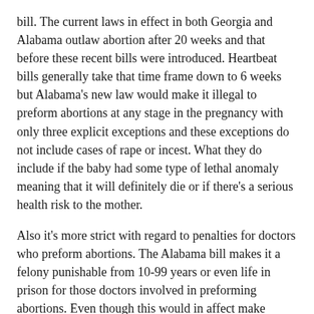bill. The current laws in effect in both Georgia and Alabama outlaw abortion after 20 weeks and that before these recent bills were introduced. Heartbeat bills generally take that time frame down to 6 weeks but Alabama's new law would make it illegal to preform abortions at any stage in the pregnancy with only three explicit exceptions and these exceptions do not include cases of rape or incest. What they do include if the baby had some type of lethal anomaly meaning that it will definitely die or if there's a serious health risk to the mother.
Also it's more strict with regard to penalties for doctors who preform abortions. The Alabama bill makes it a felony punishable from 10-99 years or even life in prison for those doctors involved in preforming abortions. Even though this would in affect make abortion essentially a murder crime women seeking abortions under this law would not face that charge. It's strictly for the abortion providers.
JD: David James with a look at the Alabama abortion law and the uproar caused by its contents.
We report this information because it is setting the stage for